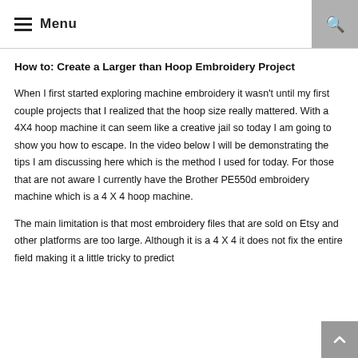Menu
How to: Create a Larger than Hoop Embroidery Project
When I first started exploring machine embroidery it wasn't until my first couple projects that I realized that the hoop size really mattered. With a 4X4 hoop machine it can seem like a creative jail so today I am going to show you how to escape. In the video below I will be demonstrating the tips I am discussing here which is the method I used for today. For those that are not aware I currently have the Brother PE550d embroidery machine which is a 4 X 4 hoop machine.
The main limitation is that most embroidery files that are sold on Etsy and other platforms are too large. Although it is a 4 X 4 it does not fix the entire field making it a little tricky to predict